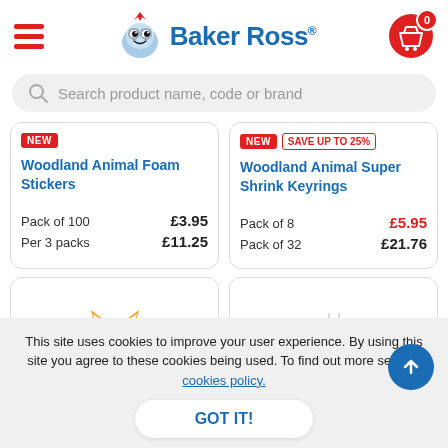[Figure (logo): Baker Ross brand logo with mascot character and company name]
Search product name, code or brand
NEW
Woodland Animal Foam Stickers
Pack of 100   £3.95
Per 3 packs   £11.25
NEW  SAVE up to 25%
Woodland Animal Super Shrink Keyrings
Pack of 8   £5.95
Pack of 32  £21.76
[Figure (illustration): Fox character illustration, partial view at bottom of page]
This site uses cookies to improve your user experience. By using this site you agree to these cookies being used. To find out more see our cookies policy.
GOT IT!